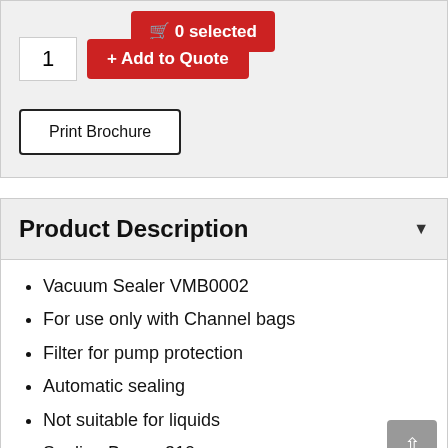🛒 0 selected
1
+ Add to Quote
Print Brochure
Product Description
Vacuum Sealer VMB0002
For use only with Channel bags
Filter for pump protection
Automatic sealing
Not suitable for liquids
Sealing Beam: 310mm